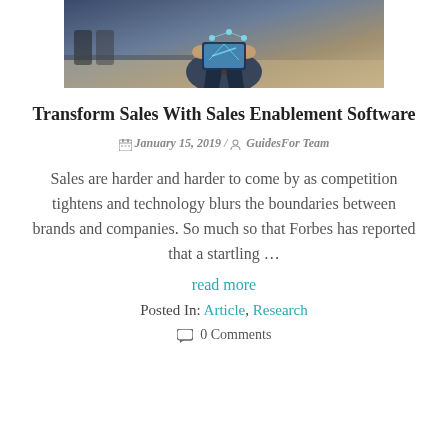[Figure (photo): Businessman in suit holding a glowing tablet device, office chairs in background]
Transform Sales With Sales Enablement Software
📅 January 15, 2019 / 👤 GuidesFor Team
Sales are harder and harder to come by as competition tightens and technology blurs the boundaries between brands and companies. So much so that Forbes has reported that a startling …
read more
Posted In: Article, Research
0 Comments